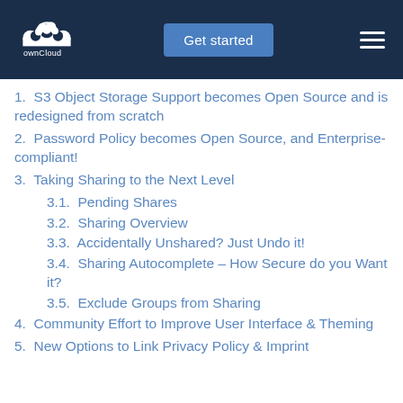ownCloud | Get started
1.  S3 Object Storage Support becomes Open Source and is redesigned from scratch
2.  Password Policy becomes Open Source, and Enterprise-compliant!
3.  Taking Sharing to the Next Level
3.1.  Pending Shares
3.2.  Sharing Overview
3.3.  Accidentally Unshared? Just Undo it!
3.4.  Sharing Autocomplete – How Secure do you Want it?
3.5.  Exclude Groups from Sharing
4.  Community Effort to Improve User Interface & Theming
5.  New Options to Link Privacy Policy & Imprint